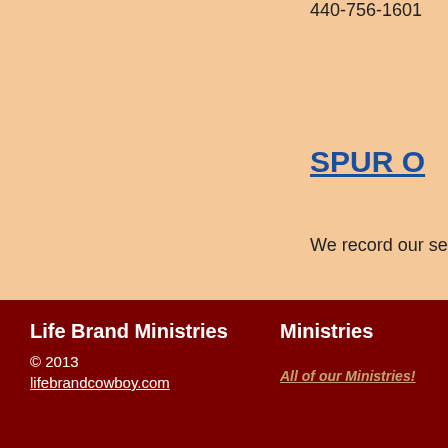440-756-1601
SPUR O
We record our sermons o
Check out the KIDS secti
Life Brand Ministries
© 2013
lifebrandcowboy.com

Ministries
All of our Ministries!